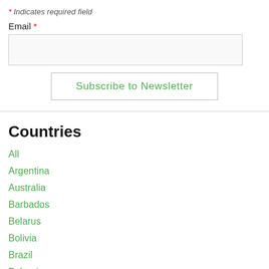* Indicates required field
Email *
Subscribe to Newsletter
Countries
All
Argentina
Australia
Barbados
Belarus
Bolivia
Brazil
Bulgaria
Cambodia
Chile